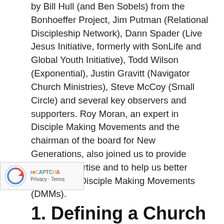by Bill Hull (and Ben Sobels) from the Bonhoeffer Project, Jim Putman (Relational Discipleship Network), Dann Spader (Live Jesus Initiative, formerly with SonLife and Global Youth Initiative), Todd Wilson (Exponential), Justin Gravitt (Navigator Church Ministries), Steve McCoy (Small Circle) and several key observers and supporters. Roy Moran, an expert in Disciple Making Movements and the chairman of the board for New Generations, also joined us to provide subject expertise and to help us better understand Disciple Making Movements (DMMs).
1. Defining a Church